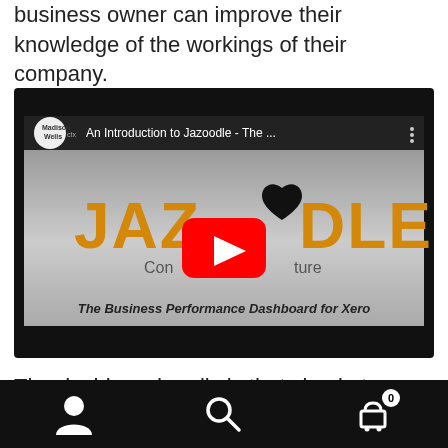business owner can improve their knowledge of the workings of their company.
[Figure (screenshot): YouTube video thumbnail showing 'An Introduction to Jazoodle - The ...' with Jazoodle logo and subtitle 'The Business Performance Dashboard for Xero'. Madison Wells channel icon visible. Red YouTube play button in center.]
The dashboard really is that simple to use and anyone with any amount of financial knowledge can
Navigation bar with user icon, search icon, and shopping cart icon with badge 0